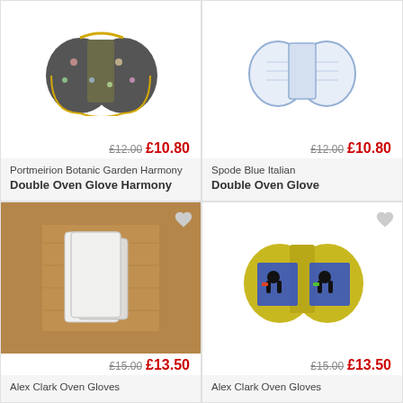[Figure (photo): Portmeirion Botanic Garden Harmony Double Oven Glove - dark grey with floral pattern]
£12.00 £10.80
Portmeirion Botanic Garden Harmony Double Oven Glove Harmony
[Figure (photo): Spode Blue Italian Double Oven Glove - white/blue toile pattern]
£12.00 £10.80
Spode Blue Italian Double Oven Glove
[Figure (photo): Alex Clark Oven Gloves - white with dog/animal print, shown packaged on wooden background]
£15.00 £13.50
Alex Clark Oven Gloves
[Figure (photo): Alex Clark Oven Gloves - yellow/olive with colourful dog art print]
£15.00 £13.50
Alex Clark Oven Gloves